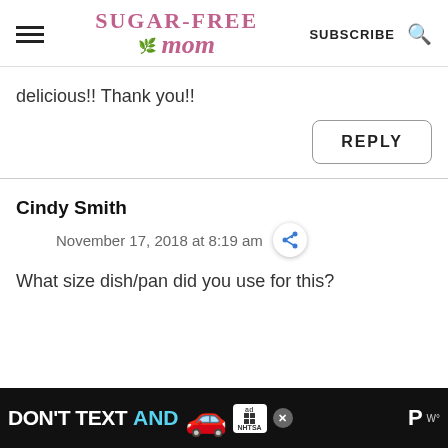Sugar-Free Mom | SUBSCRIBE
delicious!! Thank you!!
REPLY
Cindy Smith
November 17, 2018 at 8:19 am
What size dish/pan did you use for this?
[Figure (other): Advertisement banner: DON'T TEXT AND [car emoji] with ad badge and NHTSA logo]